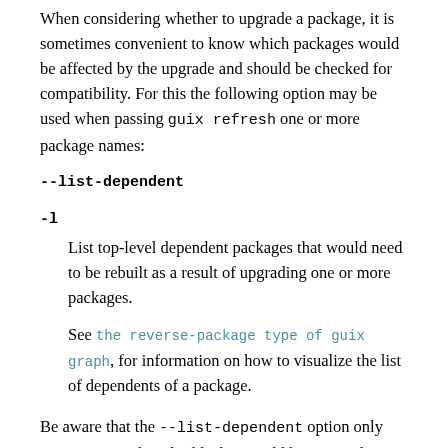When considering whether to upgrade a package, it is sometimes convenient to know which packages would be affected by the upgrade and should be checked for compatibility. For this the following option may be used when passing guix refresh one or more package names:
--list-dependent
-l
List top-level dependent packages that would need to be rebuilt as a result of upgrading one or more packages.
See the reverse-package type of guix graph, for information on how to visualize the list of dependents of a package.
Be aware that the --list-dependent option only approximates the rebuilds that would be required as a result of an upgrade. More rebuilds might be required under some circumstances.
$ guix refresh --list-dependent flex